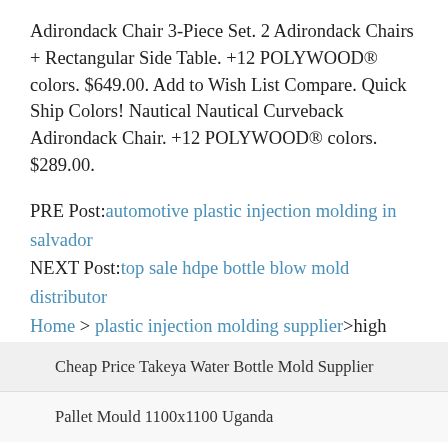Adirondack Chair 3-Piece Set. 2 Adirondack Chairs + Rectangular Side Table. +12 POLYWOOD® colors. $649.00. Add to Wish List Compare. Quick Ship Colors! Nautical Nautical Curveback Adirondack Chair. +12 POLYWOOD® colors. $289.00.
PRE Post:automotive plastic injection molding in salvador
NEXT Post:top sale hdpe bottle blow mold distributor
Home > plastic injection molding supplier>high quality leisure indoor plastic chair supplier
Cheap Price Takeya Water Bottle Mold Supplier
Pallet Mould 1100x1100 Uganda